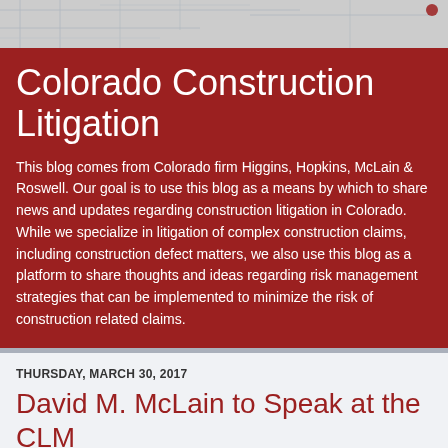[Figure (illustration): Light gray header background with faint construction blueprint lines]
Colorado Construction Litigation
This blog comes from Colorado firm Higgins, Hopkins, McLain & Roswell. Our goal is to use this blog as a means by which to share news and updates regarding construction litigation in Colorado. While we specialize in litigation of complex construction claims, including construction defect matters, we also use this blog as a platform to share thoughts and ideas regarding risk management strategies that can be implemented to minimize the risk of construction related claims.
THURSDAY, MARCH 30, 2017
David M. McLain to Speak at the CLM Claims College - School of